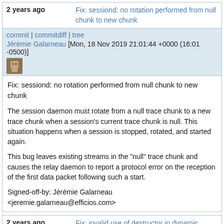2 years ago   Fix: sessiond: no rotation performed from null chunk to new chunk
commit | commitdiff | tree
Jérémie Galarneau [Mon, 18 Nov 2019 21:01:44 +0000 (16:01 -0500)]
Fix: sessiond: no rotation performed from null chunk to new chunk

The session daemon must rotate from a null trace chunk to a new trace chunk when a session's current trace chunk is null. This situation happens when a session is stopped, rotated, and started again.

This bug leaves existing streams in the "null" trace chunk and causes the relay daemon to report a protocol error on the reception of the first data packet following such a start.

Signed-off-by: Jérémie Galarneau <jeremie.galarneau@efficios.com>
2 years ago   Fix: invalid use of destructor in dynamic pointer array
commit | commitdiff | tree
Jérémie Galarneau [Mon, 18 Nov 2019 19:42:06 +0000 (14:42 -0500)]